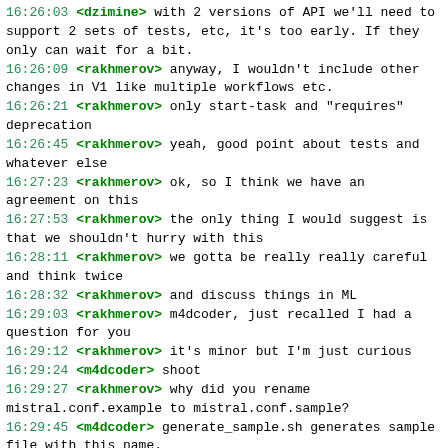16:26:03 <dzimine> with 2 versions of API we'll need to support 2 sets of tests, etc, it's too early. If they only can wait for a bit.
16:26:09 <rakhmerov> anyway, I wouldn't include other changes in V1 like multiple workflows etc.
16:26:21 <rakhmerov> only start-task and "requires" deprecation
16:26:45 <rakhmerov> yeah, good point about tests and whatever else
16:27:23 <rakhmerov> ok, so I think we have an agreement on this
16:27:53 <rakhmerov> the only thing I would suggest is that we shouldn't hurry with this
16:28:11 <rakhmerov> we gotta be really really careful and think twice
16:28:32 <rakhmerov> and discuss things in ML
16:29:03 <rakhmerov> m4dcoder, just recalled I had a question for you
16:29:12 <rakhmerov> it's minor but I'm just curious
16:29:24 <m4dcoder> shoot
16:29:27 <rakhmerov> why did you rename mistral.conf.example to mistral.conf.sample?
16:29:45 <m4dcoder> generate_sample.sh generates sample file with this name.
16:29:49 <rakhmerov> was there any strong reason or it was just a preference?
16:29:57 <rakhmerov> ooh
16:30:00 <m4dcoder> also if we use check_todate.sh, it's looking for that file.
16:30:24 <m4dcoder> more consistent then preference.